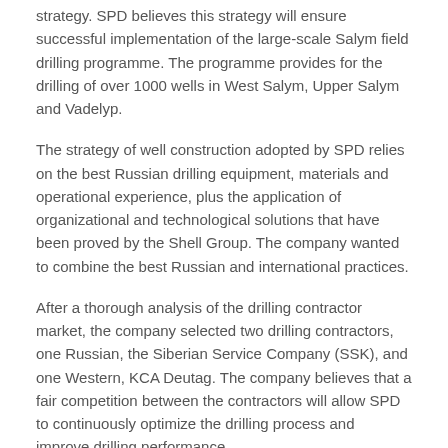strategy. SPD believes this strategy will ensure successful implementation of the large-scale Salym field drilling programme. The programme provides for the drilling of over 1000 wells in West Salym, Upper Salym and Vadelyp.
The strategy of well construction adopted by SPD relies on the best Russian drilling equipment, materials and operational experience, plus the application of organizational and technological solutions that have been proved by the Shell Group. The company wanted to combine the best Russian and international practices.
After a thorough analysis of the drilling contractor market, the company selected two drilling contractors, one Russian, the Siberian Service Company (SSK), and one Western, KCA Deutag. The company believes that a fair competition between the contractors will allow SPD to continuously optimize the drilling process and improve drilling performance.
All materials SPD uses in well construction, including casing pipes, wellheads and completion equipment, are made in Russia, as are